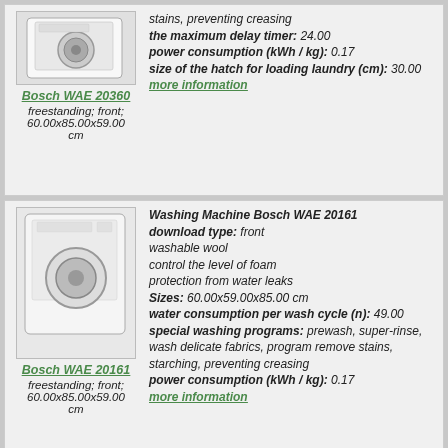the maximum delay timer: 24.00 power consumption (kWh / kg): 0.17 size of the hatch for loading laundry (cm): 30.00 more information
[Figure (photo): Bosch WAE 20360 washing machine front view]
Bosch WAE 20360 freestanding; front; 60.00x85.00x59.00 cm
Washing Machine Bosch WAE 20161 download type: front washable wool control the level of foam protection from water leaks Sizes: 60.00x59.00x85.00 cm water consumption per wash cycle (n): 49.00 special washing programs: prewash, super-rinse, wash delicate fabrics, program remove stains, starching, preventing creasing power consumption (kWh / kg): 0.17 more information
[Figure (photo): Bosch WAE 20161 washing machine front view]
Bosch WAE 20161 freestanding; front; 60.00x85.00x59.00 cm
Washing Machine Bosch WAE 16161 download type: front washable wool control the level of foam protection from water leaks Sizes: 60.00x59.00x85.00 cm water consumption per wash cycle (n): 49.00 special washing programs: prewash, super
[Figure (photo): Bosch WAE 16161 washing machine front view]